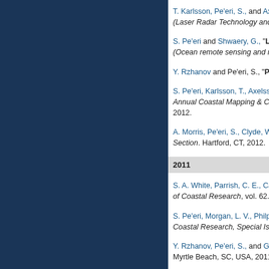T. Karlsson, Pe'eri, S., and Axelsson, A., "The Impact of ... (Laser Radar Technology and Applications XVII). Baltimore...
S. Pe'eri and Shwaery, G., "Light Field and Water Clari... (Ocean remote sensing and monitoring IV). Baltimore, MD...
Y. Rzhanov and Pe'eri, S., "Pushbroom-frame Imagery...
S. Pe'eri, Karlsson, T., Axelsson, A., Rzhanov, Y., and Riley... Annual Coastal Mapping & Charting Workshop of the Join... 2012.
A. Morris, Pe'eri, S., Clyde, W. C., and Ackerman, S., "Sea... Section. Hartford, CT, 2012.
2011
S. A. White, Parrish, C. E., Calder, B. R., Pe'eri, S., and Rzh... of Coastal Research, vol. 62. Coastal Education & Research...
S. Pe'eri, Morgan, L. V., Philpot, W. D., and Armstrong, A. ... Coastal Research, Special Issue: Applied LIDAR Technique...
Y. Rzhanov, Pe'eri, S., and Gardner, J. V., "Airborne hype... Myrtle Beach, SC, USA, 2011.